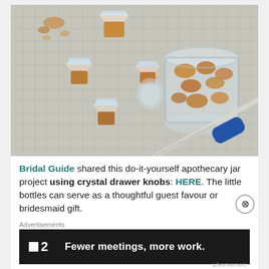[Figure (photo): Overhead view on a grid cutting mat showing crystal drawer knobs attached to cork stoppers forming small apothecary bottles, a glass jar full of cork pieces, and a screwdriver with blue handle.]
Bridal Guide shared this do-it-yourself apothecary jar project using crystal drawer knobs: HERE. The little bottles can serve as a thoughtful guest favour or bridesmaid gift.
Advertisements
[Figure (screenshot): Advertisement banner: dark background with a white square icon, bold '2' and text 'Fewer meetings, more work.']